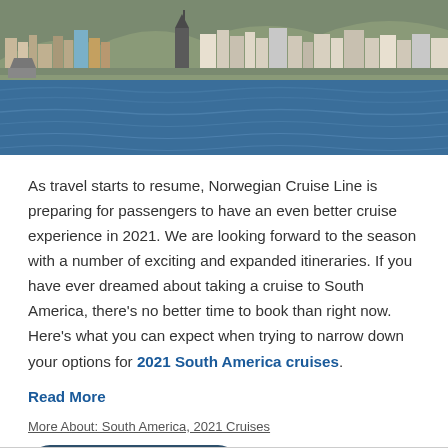[Figure (photo): Coastal city skyline with colorful buildings reflected over blue water, likely a South American port city]
As travel starts to resume, Norwegian Cruise Line is preparing for passengers to have an even better cruise experience in 2021. We are looking forward to the season with a number of exciting and expanded itineraries. If you have ever dreamed about taking a cruise to South America, there's no better time to book than right now. Here's what you can expect when trying to narrow down your options for 2021 South America cruises.
Read More
More About: South America, 2021 Cruises
Chat with an Agent